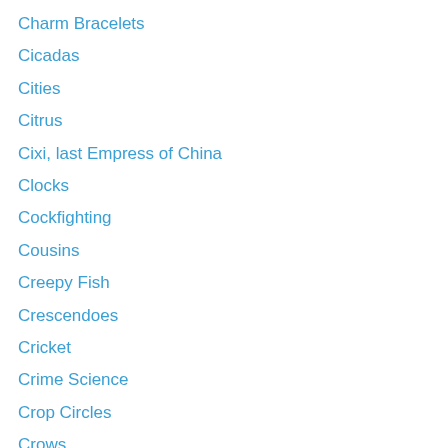Charm Bracelets
Cicadas
Cities
Citrus
Cixi, last Empress of China
Clocks
Cockfighting
Cousins
Creepy Fish
Crescendoes
Cricket
Crime Science
Crop Circles
Crows
Currier and Ives
Cursive Writing
Deep Sea Ecosystems
Diego Rivera
Dinosaurs
Dwarf Planets